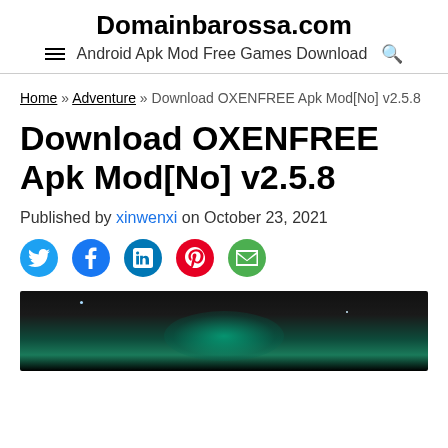Domainbarossa.com
Android Apk Mod Free Games Download
Home » Adventure » Download OXENFREE Apk Mod[No] v2.5.8
Download OXENFREE Apk Mod[No] v2.5.8
Published by xinwenxi on October 23, 2021
[Figure (screenshot): Social sharing icons: Twitter, Facebook, LinkedIn, Pinterest, Email]
[Figure (photo): Dark background with glowing green/teal planet or orb in center, stars visible, appears to be game artwork for OXENFREE]